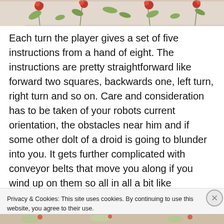[Figure (photo): Floral/botanical decorative image strip at top of page with red flowers and green leaves on a light background]
Each turn the player gives a set of five instructions from a hand of eight. The instructions are pretty straightforward like forward two squares, backwards one, left turn, right turn and so on.  Care and consideration has to be taken of your robots current orientation, the obstacles near him and if some other dolt of a droid is going to blunder into you.  It gets further complicated with conveyor belts that move you along if you wind up on them so all in all a bit like Kosmonauts if you’ve seen that other great game.
Privacy & Cookies: This site uses cookies. By continuing to use this website, you agree to their use.
To find out more, including how to control cookies, see here: Cookie Policy
Close and accept